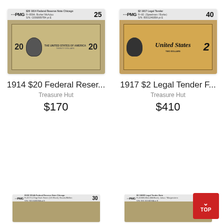[Figure (photo): PMG graded $20 1914 Federal Reserve Note Chicago in plastic slab, grade 25]
[Figure (photo): PMG graded $2 1917 Legal Tender note in plastic slab, grade 40]
1914 $20 Federal Reser...
Treasure Hut
$170
1917 $2 Legal Tender F...
Treasure Hut
$410
[Figure (photo): PMG graded $100 1914 Federal Reserve Note Chicago in plastic slab, grade 30]
[Figure (photo): PMG graded $2 1869 Legal Tender Note in plastic slab, grade 30]